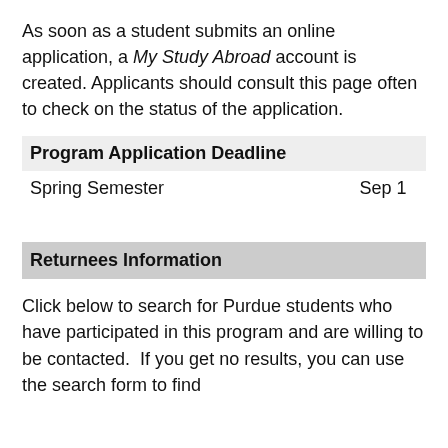As soon as a student submits an online application, a My Study Abroad account is created. Applicants should consult this page often to check on the status of the application.
| Program Application Deadline |  |
| --- | --- |
| Spring Semester | Sep 1 |
Returnees Information
Click below to search for Purdue students who have participated in this program and are willing to be contacted.  If you get no results, you can use the search form to find